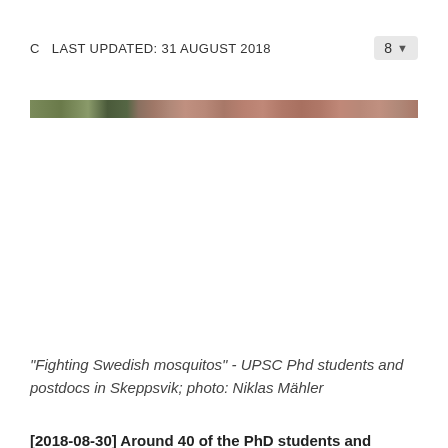C  LAST UPDATED: 31 AUGUST 2018
[Figure (photo): A narrow horizontal photo strip showing outdoor scene with trees and people, Fighting Swedish mosquitos event at Skeppsvik]
"Fighting Swedish mosquitos" - UPSC Phd students and postdocs in Skeppsvik; photo: Niklas Mähler
[2018-08-30] Around 40 of the PhD students and